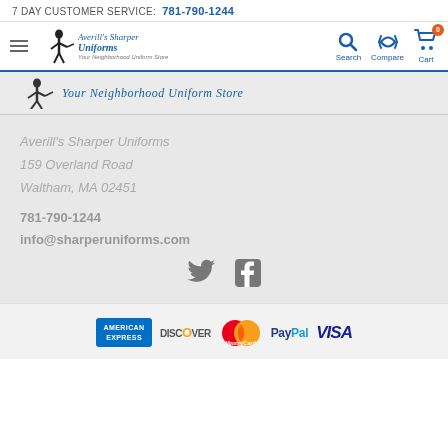7 DAY CUSTOMER SERVICE: 781-790-1244
[Figure (logo): Averill's Sharper Uniforms logo with navigation icons (Search, Compare, Cart)]
[Figure (logo): Averill's Sharper Uniforms sub-header with tagline 'Your Neighborhood Uniform Store']
Averill's Sharper Uniforms
159 Overland Road
Waltham, MA 02451
781-790-1244
info@sharperuniforms.com
[Figure (illustration): Twitter and Facebook social media icons]
[Figure (illustration): Payment method logos: American Express, Discover, MasterCard, PayPal, VISA]